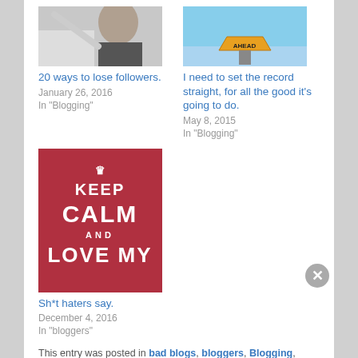[Figure (photo): Partial image of person at top left (cropped, showing shoulder/head)]
[Figure (photo): Road sign reading AHEAD against blue sky background]
20 ways to lose followers.
January 26, 2016
In "Blogging"
I need to set the record straight, for all the good it's going to do.
May 8, 2015
In "Blogging"
[Figure (photo): Keep Calm and Love My... red poster image]
Sh*t haters say.
December 4, 2016
In "bloggers"
This entry was posted in bad blogs, bloggers, Blogging, blogs, lists, rant and tagged bad blogs, bloggers, Blogging, blogs, blogs
Advertisements
[Figure (photo): Seamless food delivery advertisement with pizza image and ORDER NOW button]